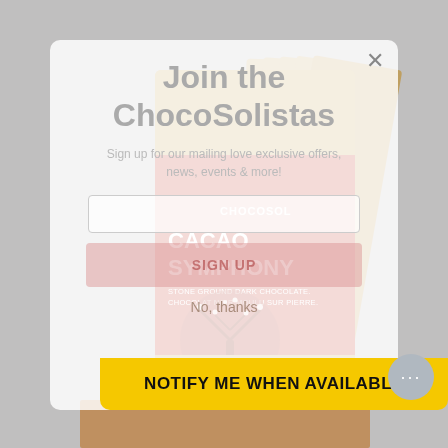[Figure (photo): Product photo of Chocosol Cacao Symphony stone ground dark chocolate packages arranged in a box, with red and kraft packaging visible. Background is gray. A modal overlay dialog is displayed on top.]
Join the ChocoSolistas
Sign up for our mailing love exclusive offers, news, events & more!
SIGN UP
No, thanks
NOTIFY ME WHEN AVAILABLE